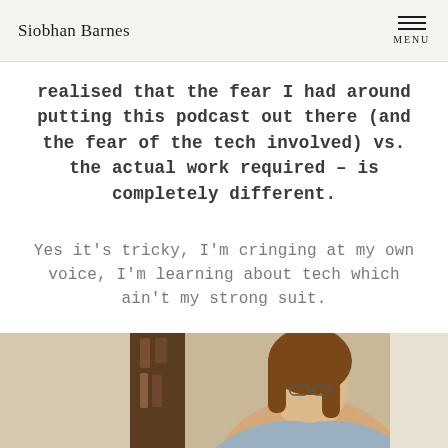Siobhan Barnes
realised that the fear I had around putting this podcast out there (and the fear of the tech involved) vs. the actual work required – is completely different.
Yes it's tricky, I'm cringing at my own voice, I'm learning about tech which ain't my strong suit.
[Figure (photo): Photo of a woman with long brown hair, partially visible at the bottom of the page]